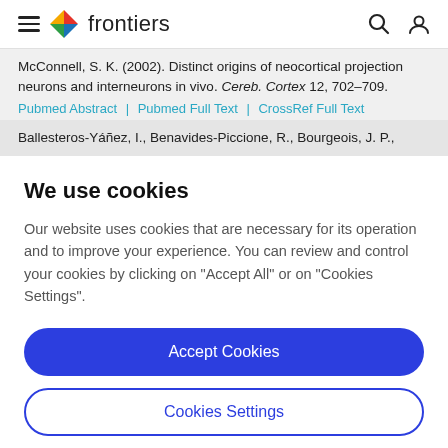frontiers
McConnell, S. K. (2002). Distinct origins of neocortical projection neurons and interneurons in vivo. Cereb. Cortex 12, 702–709.
Pubmed Abstract | Pubmed Full Text | CrossRef Full Text
Ballesteros-Yáñez, I., Benavides-Piccione, R., Bourgeois, J. P.,
We use cookies
Our website uses cookies that are necessary for its operation and to improve your experience. You can review and control your cookies by clicking on "Accept All" or on "Cookies Settings".
Accept Cookies
Cookies Settings